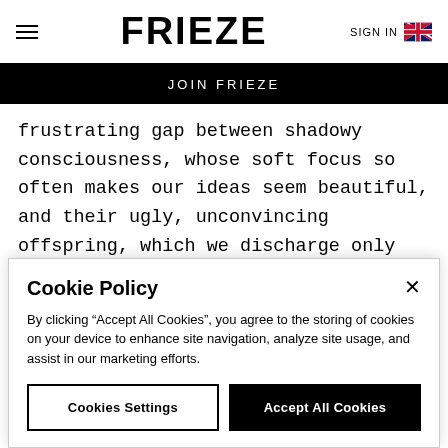FRIEZE
JOIN FRIEZE
frustrating gap between shadowy consciousness, whose soft focus so often makes our ideas seem beautiful, and their ugly, unconvincing offspring, which we discharge only after a traumatic, bottle-necked passage to the outside world.
Cookie Policy
By clicking “Accept All Cookies”, you agree to the storing of cookies on your device to enhance site navigation, analyze site usage, and assist in our marketing efforts.
Cookies Settings | Accept All Cookies